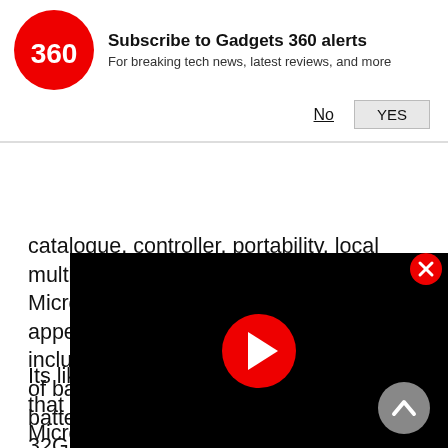[Figure (infographic): Gadgets 360 notification banner with red circular logo, bold title 'Subscribe to Gadgets 360 alerts', subtitle 'For breaking tech news, latest reviews, and more', and two buttons: 'No' (underlined) and 'YES' (boxed)]
catalogue, controller, portability, local multiplayer, and a MicroSD support. Microsoft also asks what is the least appealing feature of the Switch. Choices include price, game catalogue, absence of backwards compatibility, controller, battery life, anaemic internal memory of 32GB, lack of availability, no VR sup… possibility that that friends of those t… don't own one just yet.
Its likely that Microsoft knows as mu… SNES Classic Edition aka SNES Mini as we do, but given how successful the NES Mini was, it cannot be …